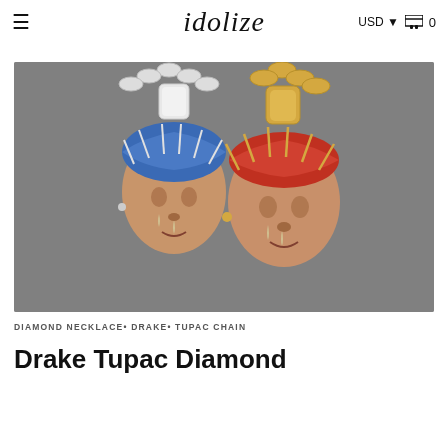≡   idolize   USD ▾  🛒 0
[Figure (photo): Two diamond-encrusted Tupac pendant necklaces side by side. Left pendant has white diamonds with blue bandana; right pendant has yellow gold diamonds with red bandana. Both feature crown of thorns and teardrop details.]
DIAMOND NECKLACE• DRAKE• TUPAC CHAIN
Drake Tupac Diamond